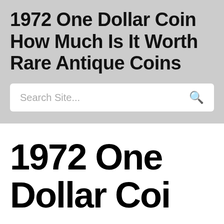1972 One Dollar Coin How Much Is It Worth Rare Antique Coins
Search Site...
1972 One Dollar Coin